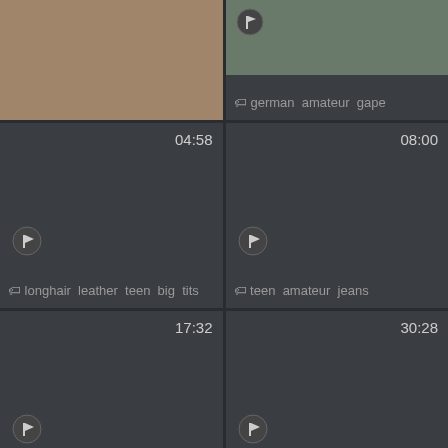[Figure (screenshot): Video thumbnail grid cell top-left, partial image visible]
[Figure (screenshot): Video thumbnail grid cell top-right with tags: german amateur gape]
german  amateur  gape
[Figure (screenshot): Video thumbnail 04:58, tags: longhair leather teen big tits]
04:58
longhair  leather  teen  big  tits
[Figure (screenshot): Video thumbnail 08:00, tags: teen amateur jeans]
08:00
teen  amateur  jeans
[Figure (screenshot): Video thumbnail 17:32, tags: amazing japanese pornstar]
17:32
amazing  japanese  pornstar
[Figure (screenshot): Video thumbnail 30:28, tags: squirt compilation dildo solo]
30:28
squirt  compilation  dildo  solo
[Figure (screenshot): Video thumbnail 05:43]
05:43
[Figure (screenshot): Video thumbnail 05:08]
05:08